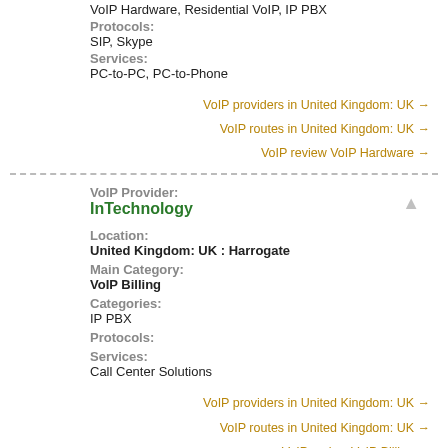VoIP Hardware, Residential VoIP, IP PBX
Protocols:
SIP, Skype
Services:
PC-to-PC, PC-to-Phone
VoIP providers in United Kingdom: UK →
VoIP routes in United Kingdom: UK →
VoIP review VoIP Hardware →
VoIP Provider:
InTechnology
Location:
United Kingdom: UK : Harrogate
Main Category:
VoIP Billing
Categories:
IP PBX
Protocols:
Services:
Call Center Solutions
VoIP providers in United Kingdom: UK →
VoIP routes in United Kingdom: UK →
VoIP review VoIP Billing →
1